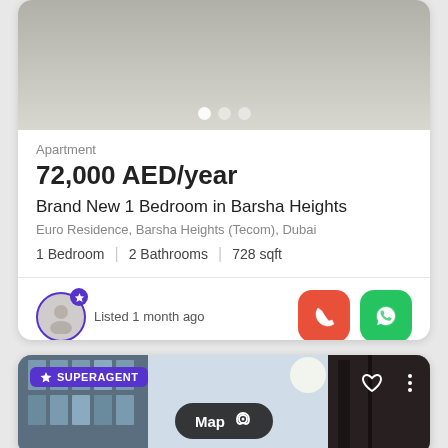[Figure (screenshot): Property listing card photo area with navigation dots]
Apartment
72,000 AED/year
Brand New 1 Bedroom in Barsha Heights
Euro Residence, Barsha Heights (Tecom), Dubai
1 Bedroom  |  2 Bathrooms  |  728 sqft
Listed 1 month ago
[Figure (screenshot): Second property listing card with SUPERAGENT badge, building photo, heart and more buttons, and Map button overlay]